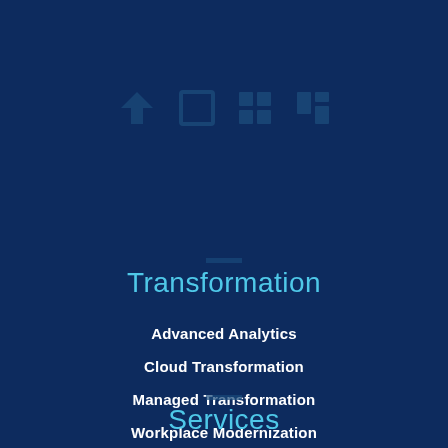[Figure (illustration): Faint ghost/watermark icons (social media or navigation icons) arranged horizontally near the top center of the dark blue background]
Transformation
Advanced Analytics
Cloud Transformation
Managed Transformation
Workplace Modernization
Services